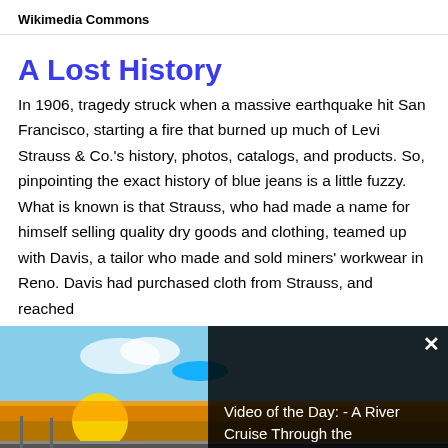Wikimedia Commons
A Lost History
In 1906, tragedy struck when a massive earthquake hit San Francisco, starting a fire that burned up much of Levi Strauss & Co.'s history, photos, catalogs, and products. So, pinpointing the exact history of blue jeans is a little fuzzy. What is known is that Strauss, who had made a name for himself selling quality dry goods and clothing, teamed up with Davis, a tailor who made and sold miners' workwear in Reno. Davis had purchased cloth from Strauss, and reached
[Figure (screenshot): Video overlay showing a river cruise sunset scene with dark panel reading 'Video of the Day: - A River Cruise Through the Netherlands' and a close button]
the wa [advertisement banner] duck
and blue denim.